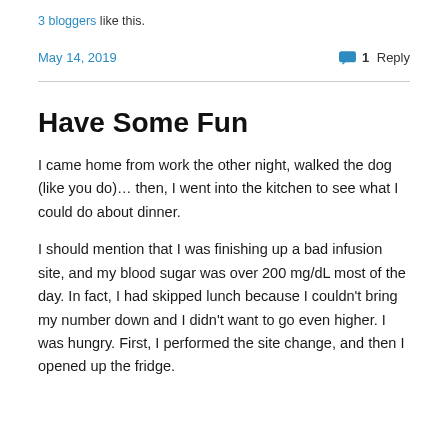3 bloggers like this.
May 14, 2019   1 Reply
Have Some Fun
I came home from work the other night, walked the dog (like you do)… then, I went into the kitchen to see what I could do about dinner.
I should mention that I was finishing up a bad infusion site, and my blood sugar was over 200 mg/dL most of the day. In fact, I had skipped lunch because I couldn't bring my number down and I didn't want to go even higher. I was hungry. First, I performed the site change, and then I opened up the fridge.